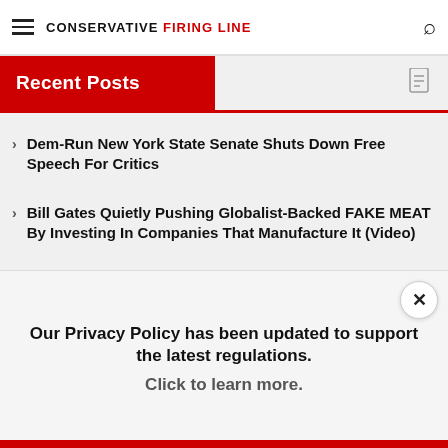CONSERVATIVE FIRING LINE
Recent Posts
Dem-Run New York State Senate Shuts Down Free Speech For Critics
Bill Gates Quietly Pushing Globalist-Backed FAKE MEAT By Investing In Companies That Manufacture It (Video)
Racist: Berkeley Housing Co-op Bans ‘Whites’ From Common Areas
Texas Ranchers Fighting Losing Battle With Illegals
Our Privacy Policy has been updated to support the latest regulations. Click to learn more.